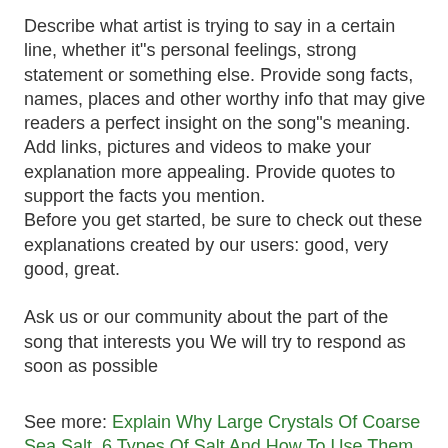Describe what artist is trying to say in a certain line, whether it"s personal feelings, strong statement or something else. Provide song facts, names, places and other worthy info that may give readers a perfect insight on the song"s meaning. Add links, pictures and videos to make your explanation more appealing. Provide quotes to support the facts you mention.
Before you get started, be sure to check out these explanations created by our users: good, very good, great.
Ask us or our community about the part of the song that interests you We will try to respond as soon as possible
See more: Explain Why Large Crystals Of Coarse Sea Salt, 6 Types Of Salt And How To Use Them